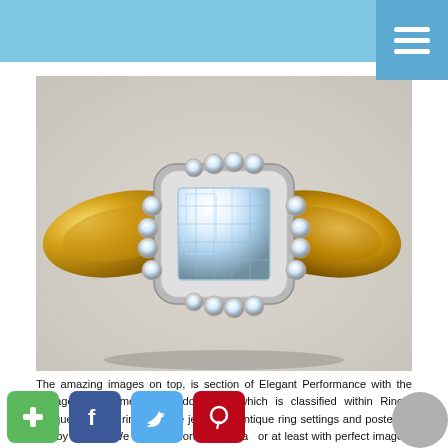[Figure (photo): Close-up photo of an elegant vintage-style diamond engagement ring with a large emerald-cut center stone set in silver/white metal, surrounded by a halo of round bezel-set diamonds, on a yellow gold band, photographed against a light grey background.]
The amazing images on top, is section of Elegant Performance with the Vintage Engagement Ring document which is classified within Rings, antique wedding ring, antique jewellery, antique ring settings and posted at PM by Kaylee. We always effort to show a or at least with perfect images. Thank you for